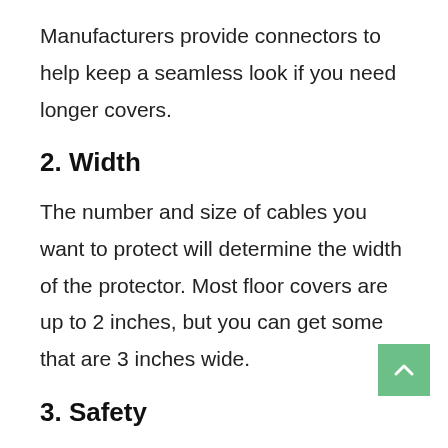Manufacturers provide connectors to help keep a seamless look if you need longer covers.
2. Width
The number and size of cables you want to protect will determine the width of the protector. Most floor covers are up to 2 inches, but you can get some that are 3 inches wide.
3. Safety
A majority of the manufacturers make